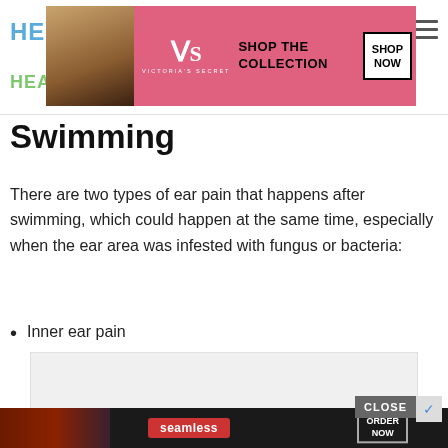HE | HEAL — Navigation header with Victoria's Secret advertisement
Swimming
There are two types of ear pain that happens after swimming, which could happen at the same time, especially when the ear area was infested with fungus or bacteria:
Inner ear pain
[Figure (photo): Gray image placeholder box for embedded content]
[Figure (photo): Seamless food delivery advertisement banner at bottom of page]